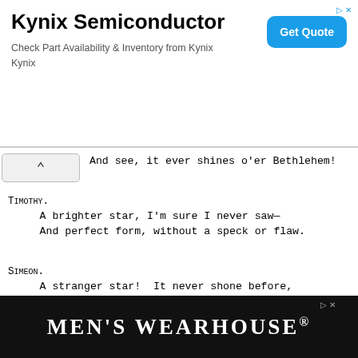[Figure (screenshot): Kynix Semiconductor advertisement banner with title, subtitle text 'Check Part Availability & Inventory from Kynix Kynix', and blue 'Get Quote' button]
And see, it ever shines o'er Bethlehem!
Timothy.
     A brighter star, I'm sure I never saw—
     And perfect form, without a speck or flaw.
Simeon.
     A stranger star!  It never shone before,
     It standeth still above that stable door.
Enter Anna and Ruth from rear left.
     Anna carries a little lamb.
[Figure (screenshot): Men's Wearhouse advertisement banner at bottom of page]